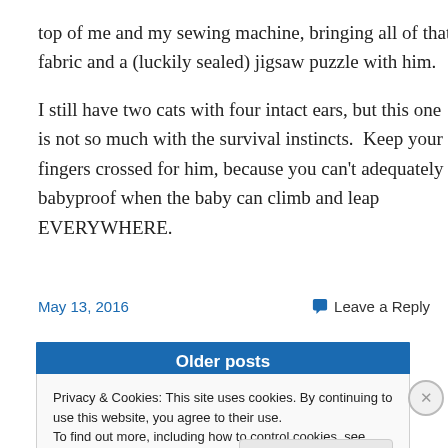top of me and my sewing machine, bringing all of that fabric and a (luckily sealed) jigsaw puzzle with him.
I still have two cats with four intact ears, but this one is not so much with the survival instincts.  Keep your fingers crossed for him, because you can't adequately babyproof when the baby can climb and leap EVERYWHERE.
May 13, 2016
Leave a Reply
Older posts
Privacy & Cookies: This site uses cookies. By continuing to use this website, you agree to their use.
To find out more, including how to control cookies, see here: Cookie Policy
Close and accept